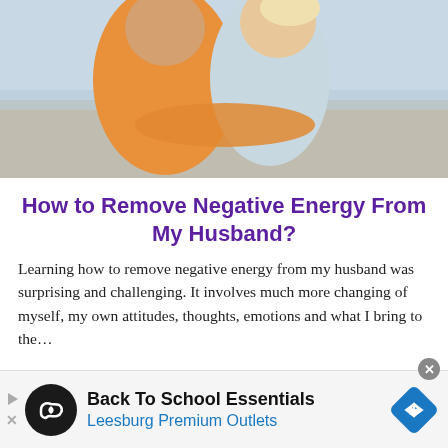[Figure (photo): A couple embracing and laughing on a beach; man in orange sweater hugging woman in light blue top]
How to Remove Negative Energy From My Husband?
Learning how to remove negative energy from my husband was surprising and challenging. It involves much more changing of myself, my own attitudes, thoughts, emotions and what I bring to the...
[Figure (infographic): Advertisement banner: Back To School Essentials — Leesburg Premium Outlets, with loop icon and navigation arrow]